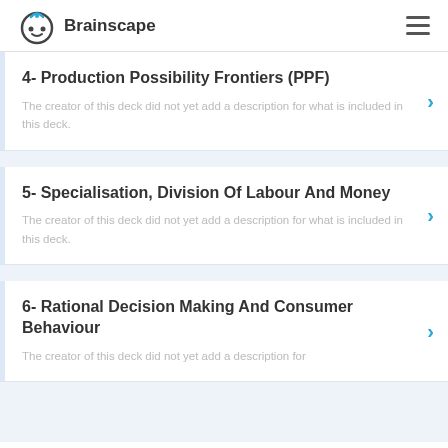Brainscape
4- Production Possibility Frontiers (PPF)
The creator of this deck did not yet add a description for what is included in this deck.
5- Specialisation, Division Of Labour And Money
The creator of this deck did not yet add a description for what is included in this deck.
6- Rational Decision Making And Consumer Behaviour
The creator of this deck did not yet add a description for